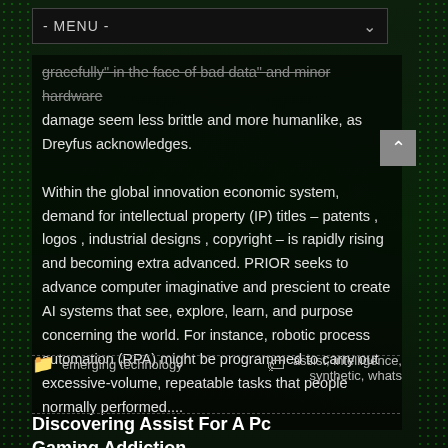- MENU -
gracefully" in the face of bad data" and minor hardware damage seem less brittle and more humanlike, as Dreyfus acknowledges.

Within the global innovation economic system, demand for intellectual property (IP) titles – patents , logos , industrial designs , copyright – is rapidly rising and becoming extra advanced. PRIOR seeks to advance computer imaginative and prescient to create AI systems that see, explore, learn, and purpose concerning the world. For instance, robotic process automation (RPA) might be programmed to carry out excessive-volume, repeatable tasks that people normally performed....
emerging technology
assist, intelligence, synthetic, whats
Discovering Assist For A Pc Gaming Addiction